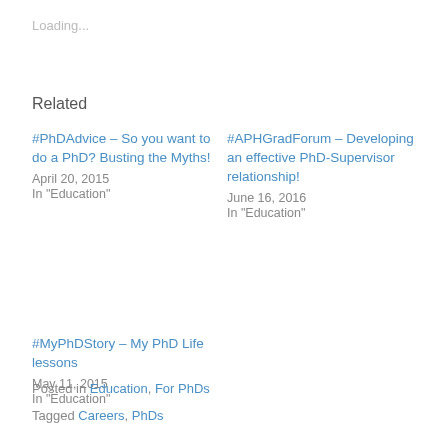Loading...
Related
#PhDAdvice – So you want to do a PhD? Busting the Myths!
April 20, 2015
In "Education"
#APHGradForum – Developing an effective PhD-Supervisor relationship!
June 16, 2016
In "Education"
#MyPhDStory – My PhD Life lessons
May 11, 2015
In "Education"
Posted in Education, For PhDs
Tagged Careers, PhDs